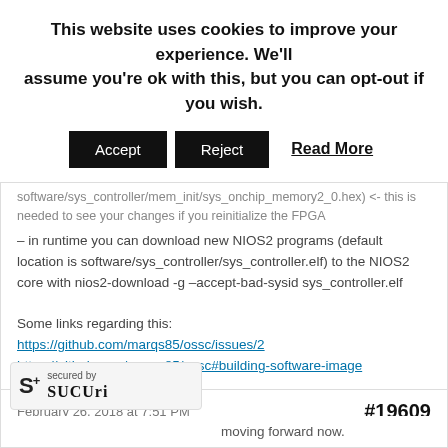This website uses cookies to improve your experience. We'll assume you're ok with this, but you can opt-out if you wish.
Accept | Reject | Read More
software/sys_controller/mem_init/sys_onchip_memory2_0.hex) <- this is needed to see your changes if you reinitialize the FPGA
– in runtime you can download new NIOS2 programs (default location is software/sys_controller/sys_controller.elf) to the NIOS2 core with nios2-download -g –accept-bad-sysid sys_controller.elf

Some links regarding this:
https://github.com/marqs85/ossc/issues/2
https://github.com/marqs85/ossc#building-software-image
February 26, 2018 at 7:51 PM	#19609
renegadeandy
Participant
secured by
SUCURi
moving forward now.